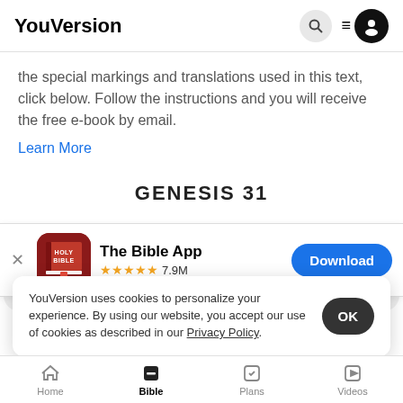YouVersion
the special markings and translations used in this text, click below. Follow the instructions and you will receive the free e-book by email.
Learn More
GENESIS 31
[Figure (screenshot): App download banner for The Bible App with Holy Bible icon, 5 stars rating, 7.9M reviews, and a Download button]
nd he heard the words of Lavan's sons,
saying,
father's,
YouVersion uses cookies to personalize your experience. By using our website, you accept our use of cookies as described in our Privacy Policy.
Home | Bible | Plans | Videos